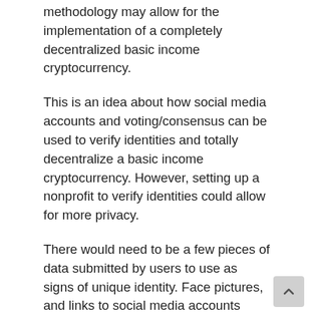methodology may allow for the implementation of a completely decentralized basic income cryptocurrency.
This is an idea about how social media accounts and voting/consensus can be used to verify identities and totally decentralize a basic income cryptocurrency. However, setting up a nonprofit to verify identities could allow for more privacy.
There would need to be a few pieces of data submitted by users to use as signs of unique identity. Face pictures, and links to social media accounts could be used to verify the unique identities of basic income cryptocurrency recipients.
Users could be approved (or perhaps instead disapproved) by voting/consensus. There are probably multiple ways to potentially implement this.